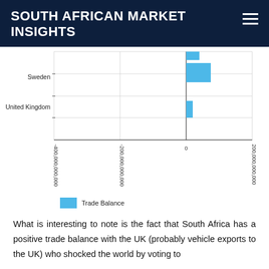SOUTH AFRICAN MARKET INSIGHTS
[Figure (bar-chart): Trade Balance]
What is interesting to note is the fact that South Africa has a positive trade balance with the UK (probably vehicle exports to the UK) who shocked the world by voting to